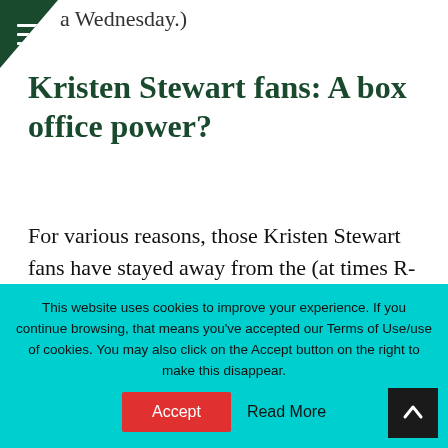a Wednesday.)
Kristen Stewart fans: A box office power?
For various reasons, those Kristen Stewart fans have stayed away from the (at times R-rated, e.g., The Runaways, Welcome to the Rileys) low-budget, modestly (or downright poorly) marketed indie fare featuring the actress. Snow White and
This website uses cookies to improve your experience. If you continue browsing, that means you've accepted our Terms of Use/use of cookies. You may also click on the Accept button on the right to make this disappear.